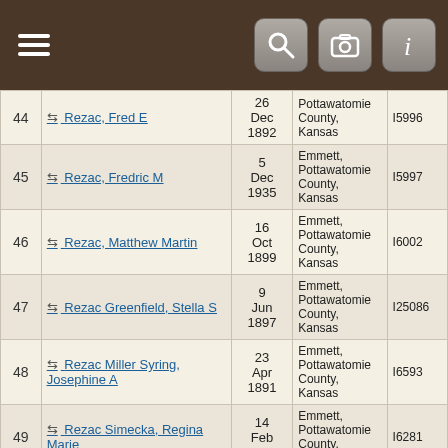Navigation header with menu and search/camera/info icons
| # | Name | Date | Place | ID |
| --- | --- | --- | --- | --- |
| 44 | Rezac, Fred E | 26 Dec 1892 | Pottawatomie County, Kansas | I5996 |
| 45 | Rezac, Fredric M | 5 Dec 1935 | Emmett, Pottawatomie County, Kansas | I5997 |
| 46 | Rezac, Matthew Martin | 16 Oct 1899 | Emmett, Pottawatomie County, Kansas | I6002 |
| 47 | Rezac Greenfield, Stella S | 9 Jun 1897 | Emmett, Pottawatomie County, Kansas | I25086 |
| 48 | Rezac Miller Syring, Josephine A | 23 Apr 1891 | Emmett, Pottawatomie County, Kansas | I6593 |
| 49 | Rezac Simecka, Regina Marie | 14 Feb 1907 | Emmett, Pottawatomie County, Kansas | I6281 |
| 50 | Rezac Zima, Teresa Elizabeth | 9 Oct | Emmett, Pottawatomie County, Kansas | I25389 |